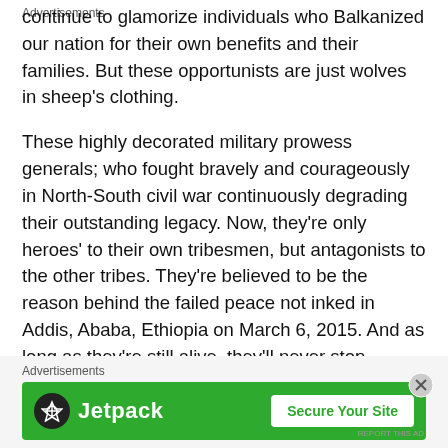continue to glamorize individuals who Balkanized our nation for their own benefits and their families. But these opportunists are just wolves in sheep's clothing.
These highly decorated military prowess generals; who fought bravely and courageously in North-South civil war continuously degrading their outstanding legacy. Now, they're only heroes' to their own tribesmen, but antagonists to the other tribes. They're believed to be the reason behind the failed peace not inked in Addis, Ababa, Ethiopia on March 6, 2015. And as long as they're still alive, they'll never stop singing the slogan of war, on the streets and on the national SSTV. They'll work hard for that to accomplish their goals: Stops the reinstalling of Dr. Riek as first vice preside
Advertisements
[Figure (other): Jetpack advertisement banner with green background, Jetpack logo on the left and 'Secure Your Site' button on the right]